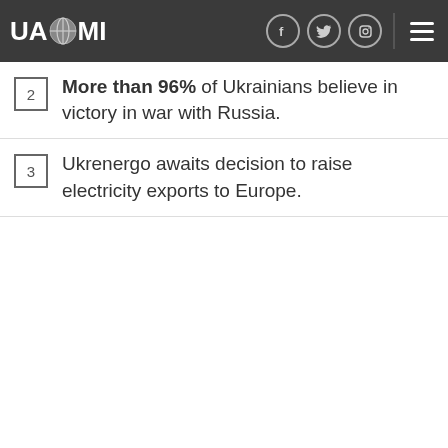UAZMI
More than 96% of Ukrainians believe in victory in war with Russia.
Ukrenergo awaits decision to raise electricity exports to Europe.